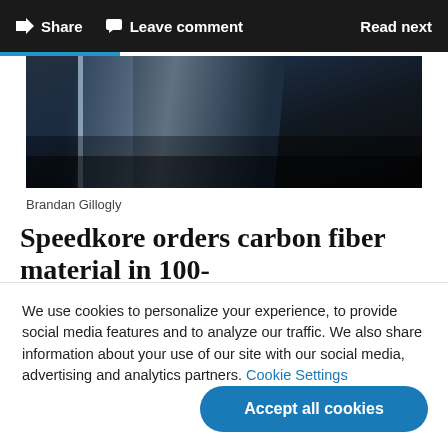Share   Leave comment   Read next
[Figure (photo): Dark carbon fiber material sheets with blue/silver edge highlight, angled view]
Brandan Gillogly
Speedkore orders carbon fiber material in 100-
We use cookies to personalize your experience, to provide social media features and to analyze our traffic. We also share information about your use of our site with our social media, advertising and analytics partners. Cookie Settings
Accept all cookies